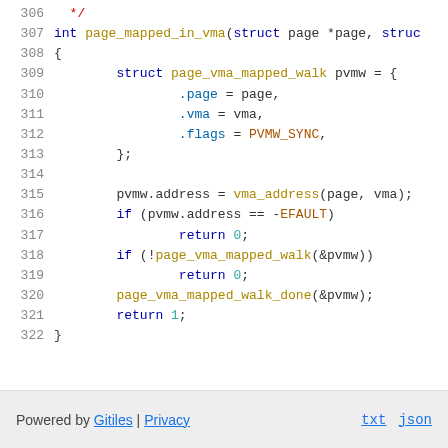Code listing lines 306-322: C function page_mapped_in_vma showing struct initialization and conditional returns
Powered by Gitiles | Privacy    txt  json